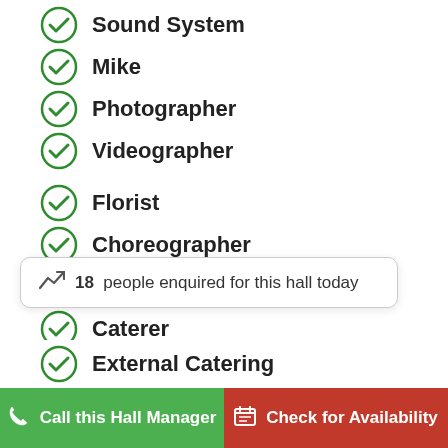Sound System
Mike
Photographer
Videographer
Florist
Choreographer
Astrologer
Caterer
Lighting
Orchestra
18  people enquired for this hall today
External Catering
Call this Hall Manager
Check for Availability